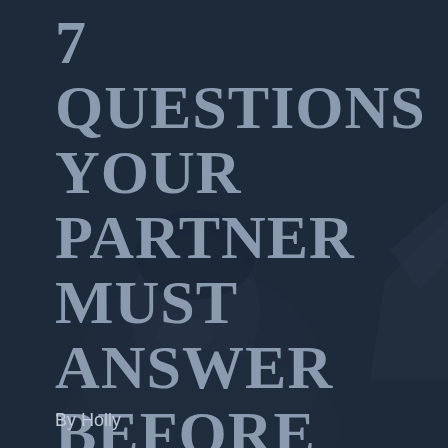[Figure (photo): Dark-toned photo of a smiling young man with dark hair, set against a dark navy/blue overlay background. The lower half of the page shows his face and upper body. There appears to be a triangular or geometric shape in the upper right background.]
7 QUESTIONS YOUR PARTNER MUST ANSWER BEFORE YOU COMMIT ...
By Holly